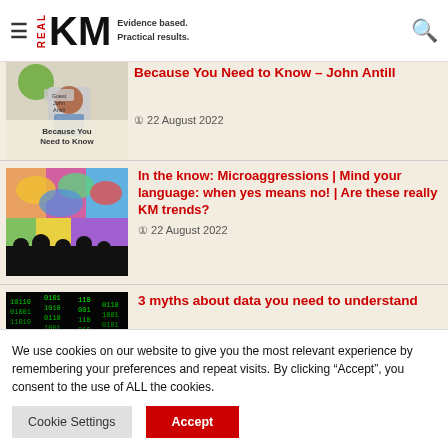[Figure (logo): RealKM logo with hamburger menu and search icon]
Because You Need to Know – John Antill
22 August 2022
In the know: Microaggressions | Mind your language: when yes means no! | Are these really KM trends?
22 August 2022
3 myths about data you need to understand
We use cookies on our website to give you the most relevant experience by remembering your preferences and repeat visits. By clicking “Accept”, you consent to the use of ALL the cookies.